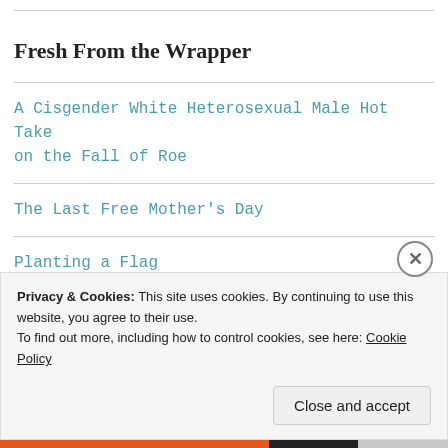Fresh From the Wrapper
A Cisgender White Heterosexual Male Hot Take on the Fall of Roe
The Last Free Mother's Day
Planting a Flag
My New year's anti-Resolutions for 2021
Privacy & Cookies: This site uses cookies. By continuing to use this website, you agree to their use.
To find out more, including how to control cookies, see here: Cookie Policy
Close and accept